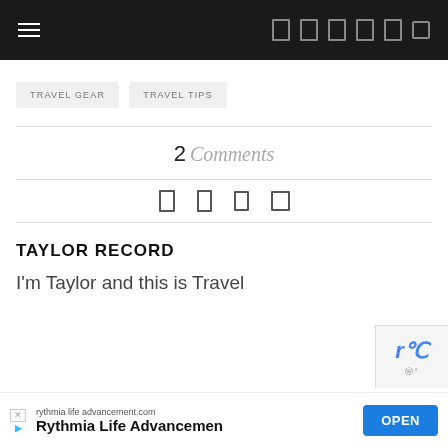Navigation header with hamburger menu and social/nav icons
TRAVEL GEAR
TRAVEL TIPS
2 Comments
[Figure (infographic): Four small share/social icons in a row]
TAYLOR RECORD
I'm Taylor and this is Travel
Ad: rythmia life advancement.com — Rythmia Life Advancemen — OPEN